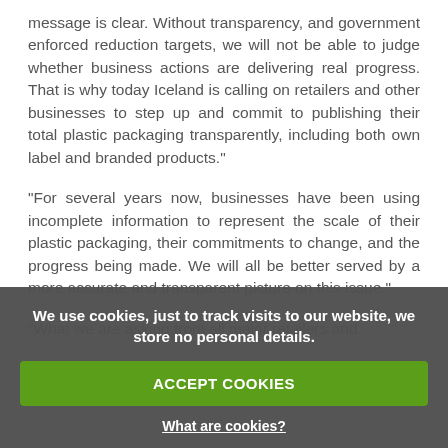message is clear. Without transparency, and government enforced reduction targets, we will not be able to judge whether business actions are delivering real progress. That is why today Iceland is calling on retailers and other businesses to step up and commit to publishing their total plastic packaging transparently, including both own label and branded products."
"For several years now, businesses have been using incomplete information to represent the scale of their plastic packaging, their commitments to change, and the progress being made. We will all be better served by a more accurate and transparent picture on this issue."
“What we are asking from all major retailers and
We use cookies, just to track visits to our website, we store no personal details.
ACCEPT COOKIES
What are cookies?